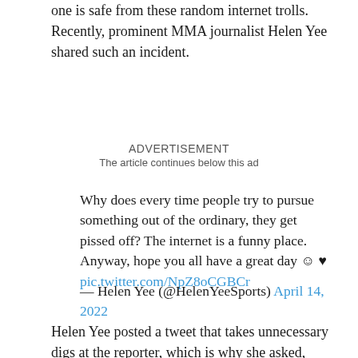one is safe from these random internet trolls. Recently, prominent MMA journalist Helen Yee shared such an incident.
ADVERTISEMENT
The article continues below this ad
Why does every time people try to pursue something out of the ordinary, they get pissed off? The internet is a funny place. Anyway, hope you all have a great day ☺ ♥ pic.twitter.com/NpZ8oCGBCr
— Helen Yee (@HelenYeeSports) April 14, 2022
Helen Yee posted a tweet that takes unnecessary digs at the reporter, which is why she asked, “Why does every time people try to pursue something out of the ordinary, they get pissed off?”
The Schmozone podcast co-host added, “I think it’s